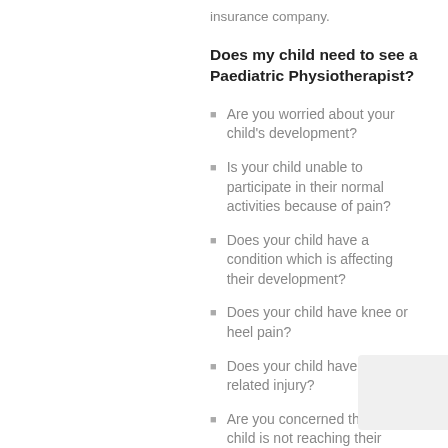insurance company.
Does my child need to see a Paediatric Physiotherapist?
Are you worried about your child's development?
Is your child unable to participate in their normal activities because of pain?
Does your child have a condition which is affecting their development?
Does your child have knee or heel pain?
Does your child have a sports-related injury?
Are you concerned that your child is not reaching their developmental milestones?
Is your child experiencing growing pains?
Are you worried about how your child